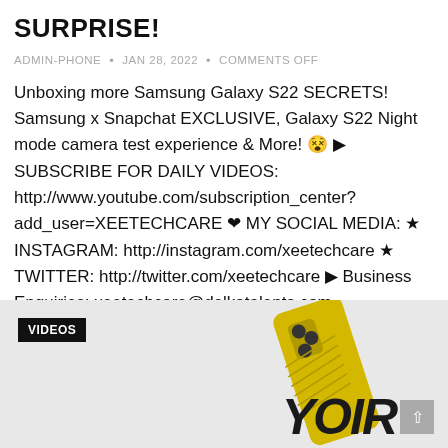SURPRISE!
ADMIN-PHONE • JAN 28, 2022 • COMMENTS OFF
Unboxing more Samsung Galaxy S22 SECRETS! Samsung x Snapchat EXCLUSIVE, Galaxy S22 Night mode camera test experience & More! 😵 ▶ SUBSCRIBE FOR DAILY VIDEOS: http://www.youtube.com/subscription_center?add_user=XEETECHCARE ♥ MY SOCIAL MEDIA: ★ INSTAGRAM: http://instagram.com/xeetechcare ★ TWITTER: http://twitter.com/xeetechcare ▶ Business Enquiries: xeetechcare@delkatalents.com…
CONTINUE READING »
[Figure (photo): Yellow Samsung Galaxy S22 Ultra phone with patterned case, partially visible, on a grey background with VIDEOS badge overlay and partial text 'YOUR' in bold italic]